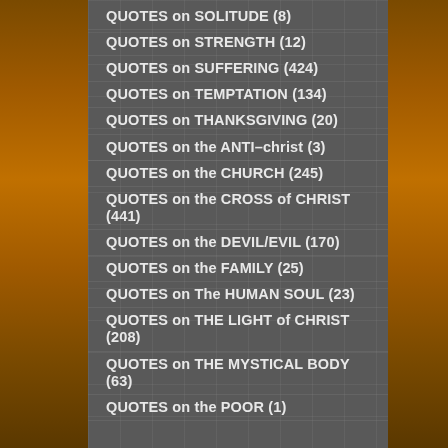QUOTES on SOLITUDE (8)
QUOTES on STRENGTH (12)
QUOTES on SUFFERING (424)
QUOTES on TEMPTATION (134)
QUOTES on THANKSGIVING (20)
QUOTES on the ANTI–christ (3)
QUOTES on the CHURCH (245)
QUOTES on the CROSS of CHRIST (441)
QUOTES on the DEVIL/EVIL (170)
QUOTES on the FAMILY (25)
QUOTES on The HUMAN SOUL (23)
QUOTES on THE LIGHT of CHRIST (208)
QUOTES on THE MYSTICAL BODY (63)
QUOTES on the POOR (1)